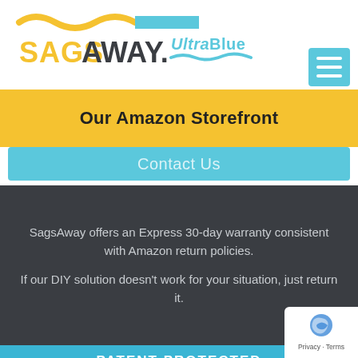[Figure (logo): SagsAway UltraBlue logo with wave graphic]
Our Amazon Storefront
Contact Us
SagsAway offers an Express 30-day warranty consistent with Amazon return policies.
If our DIY solution doesn't work for your situation, just return it.
PATENT PROTECTED
SAGSAWAY NAME AND LOGO ARE REGISTERED TRADEMARK OF NO SAGS